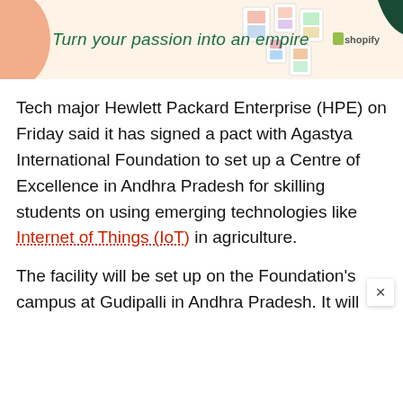[Figure (illustration): Shopify advertisement banner with peach/cream background, green italic text 'Turn your passion into an empire', decorative blobs, photo collage frames, and Shopify logo on the right.]
Tech major Hewlett Packard Enterprise (HPE) on Friday said it has signed a pact with Agastya International Foundation to set up a Centre of Excellence in Andhra Pradesh for skilling students on using emerging technologies like Internet of Things (IoT) in agriculture.
The facility will be set up on the Foundation's campus at Gudipalli in Andhra Pradesh. It will